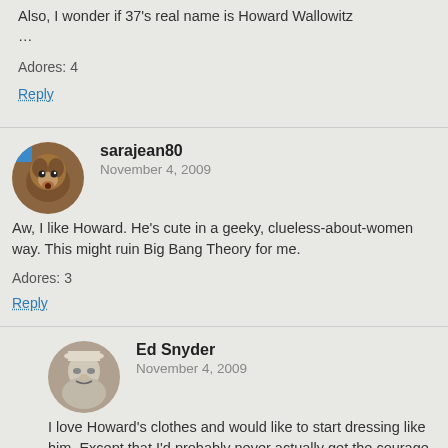Also, I wonder if 37's real name is Howard Wallowitz …
Adores: 4
Reply
sarajean80
November 4, 2009
Aw, I like Howard. He's cute in a geeky, clueless-about-women way. This might ruin Big Bang Theory for me.
Adores: 3
Reply
Ed Snyder
November 4, 2009
I love Howard's clothes and would like to start dressing like him. Except that I'd probably never actually get the courage to leave the house dressed like that.